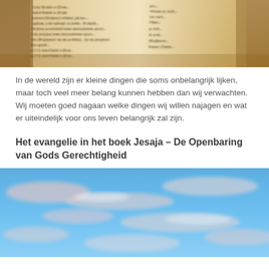[Figure (photo): Close-up photograph of an open book with printed text in Polish, warm sepia/golden tones, blurred background]
In de wereld zijn er kleine dingen die soms onbelangrijk lijken, maar toch veel meer belang kunnen hebben dan wij verwachten. Wij moeten goed nagaan welke dingen wij willen najagen en wat er uiteindelijk voor ons leven belangrijk zal zijn.
Het evangelie in het boek Jesaja – De Openbaring van Gods Gerechtigheid
[Figure (photo): Photograph of a blue sky with wispy pink and white clouds, bright daylight scene]